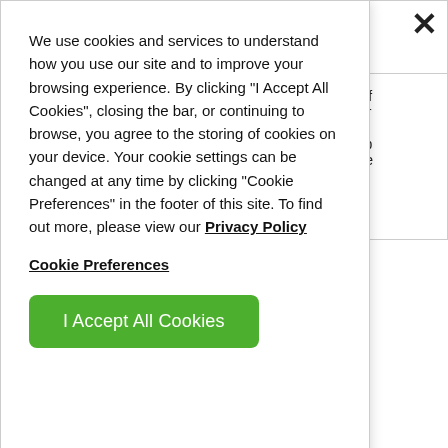We use cookies and services to understand how you use our site and to improve your browsing experience. By clicking "I Accept All Cookies", closing the bar, or continuing to browse, you agree to the storing of cookies on your device. Your cookie settings can be changed at any time by clicking "Cookie Preferences" in the footer of this site. To find out more, please view our Privacy Policy
Cookie Preferences
I Accept All Cookies
| End Users | Contact Information: Name.

Survey… | Directly from End Users in response to voluntary | Platf… impr… and purp… Pote… |